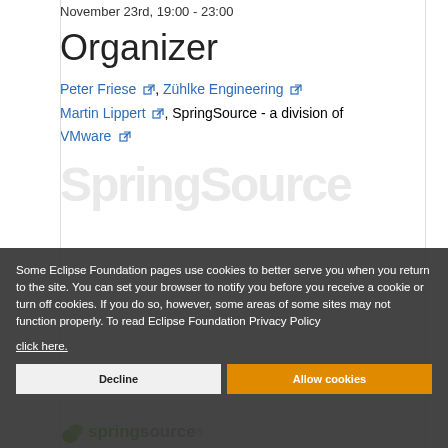November 23rd, 19:00 - 23:00
Organizer
Peter Friese, Zühlke Engineering
Martin Lippert, SpringSource - a division of VMware
Some Eclipse Foundation pages use cookies to better serve you when you return to the site. You can set your browser to notify you before you receive a cookie or turn off cookies. If you do so, however, some areas of some sites may not function properly. To read Eclipse Foundation Privacy Policy click here.
Decline
Allow cookies
[Figure (logo): SpringSource logo with green leaf and text at the bottom of the page]